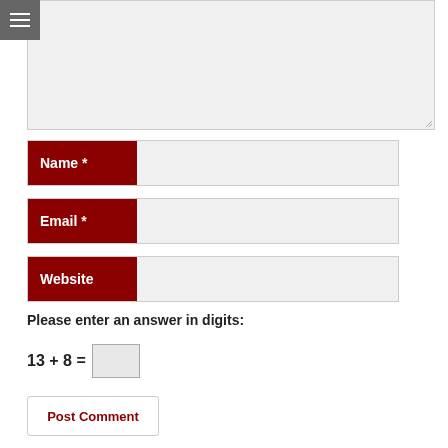[Figure (screenshot): Grey textarea input box for comment]
Name *
Email *
Website
Please enter an answer in digits:
Post Comment